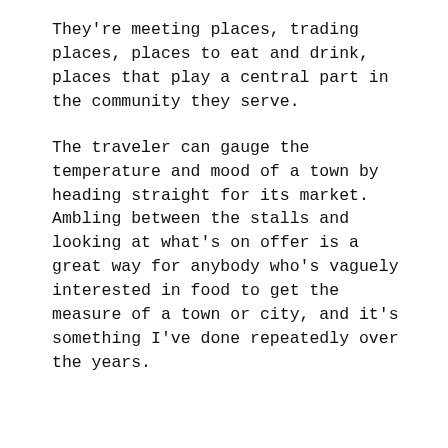They're meeting places, trading places, places to eat and drink, places that play a central part in the community they serve.
The traveler can gauge the temperature and mood of a town by heading straight for its market. Ambling between the stalls and looking at what's on offer is a great way for anybody who's vaguely interested in food to get the measure of a town or city, and it's something I've done repeatedly over the years.